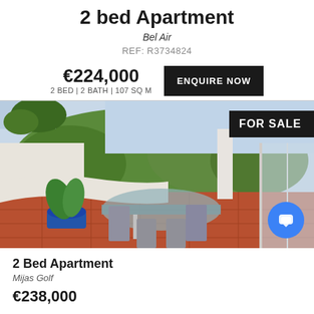2 bed Apartment
Bel Air
REF: R3734824
€224,000
2 BED | 2 BATH | 107 SQ M
ENQUIRE NOW
[Figure (photo): Outdoor terrace/balcony of an apartment with a glass dining table and chairs, surrounded by plants and a view of a green garden and trees. White curved balcony walls visible. Terracotta tile floor.]
FOR SALE
2 Bed Apartment
Mijas Golf
€238,000